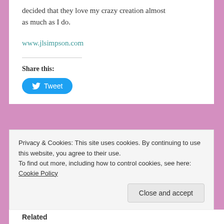decided that they love my crazy creation almost as much as I do.
www.jlsimpson.com
Share this:
[Figure (other): Tweet button with Twitter bird icon]
Privacy & Cookies: This site uses cookies. By continuing to use this website, you agree to their use. To find out more, including how to control cookies, see here: Cookie Policy
Close and accept
Related